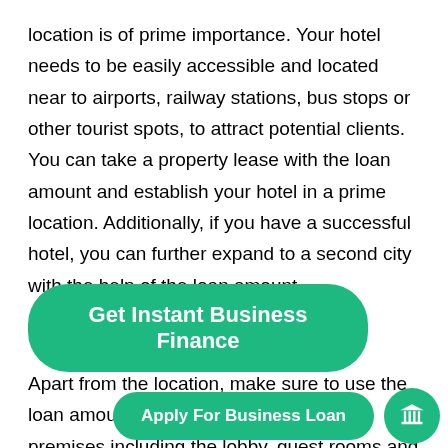location is of prime importance. Your hotel needs to be easily accessible and located near to airports, railway stations, bus stops or other tourist spots, to attract potential clients. You can take a property lease with the loan amount and establish your hotel in a prime location. Additionally, if you have a successful hotel, you can further expand to a second city with the help of the loan amount.
[Figure (other): Green rounded button labeled 'Get Instant Business Finance']
Apart from the location, make sure to use the loan amount to remodel/renovate your premises including the lobby, guest rooms and other amenities furniture, lighting fixtures, interior décor pieces
[Figure (other): Green rounded button labeled 'Apply For Business Loan' and a green circle button with a bank/institution icon]